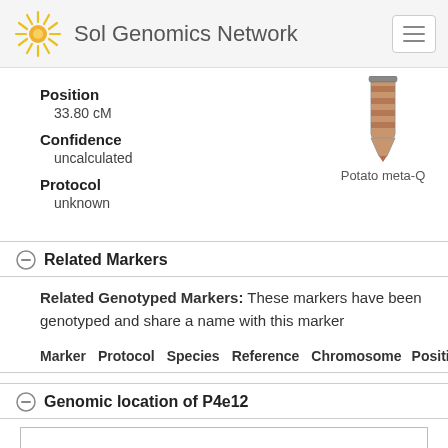Sol Genomics Network
Position
33.80 cM
Confidence
uncalculated
Protocol
unknown
[Figure (illustration): Tube/vial illustration with brown/red striped pattern, representing a genetic marker or sample]
Potato meta-Q
Related Markers
Related Genotyped Markers: These markers have been genotyped and share a name with this marker
| Marker | Protocol | Species | Reference | Chromosome | Position |
| --- | --- | --- | --- | --- | --- |
Genomic location of P4e12